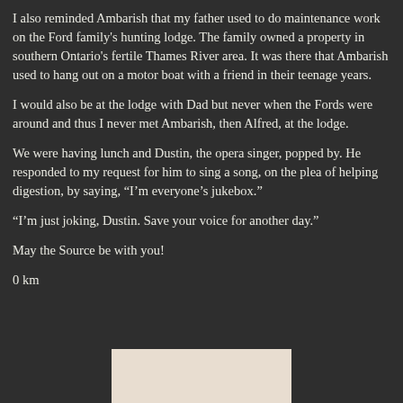I also reminded Ambarish that my father used to do maintenance work on the Ford family’s hunting lodge. The family owned a property in southern Ontario’s fertile Thames River area. It was there that Ambarish used to hang out on a motor boat with a friend in their teenage years.
I would also be at the lodge with Dad but never when the Fords were around and thus I never met Ambarish, then Alfred, at the lodge.
We were having lunch and Dustin, the opera singer, popped by. He responded to my request for him to sing a song, on the plea of helping digestion, by saying, “I’m everyone’s jukebox.”
“I’m just joking, Dustin. Save your voice for another day.”
May the Source be with you!
0 km
[Figure (photo): Partial image of what appears to be a light beige/cream colored photo or illustration, cropped at the bottom of the page.]